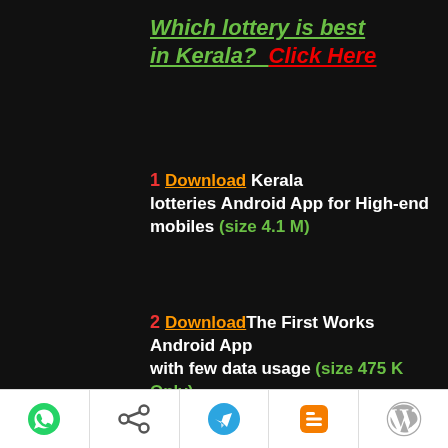Which lottery is best in Kerala?  Click Here
1 Download Kerala lotteries Android App for High-end mobiles (size 4.1 M)
2 Download The First Works Android App with few data usage (size 475 K Only) Subscribe Kerala Lottery
[Figure (screenshot): Kerala Lottery Android APP DOWNLOAD banner with Android robot logo]
[Figure (infographic): Bottom toolbar with WhatsApp, Share, Telegram, Blogger, and WordPress icons]